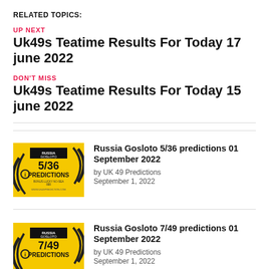RELATED TOPICS:
UP NEXT
Uk49s Teatime Results For Today 17 june 2022
DON'T MISS
Uk49s Teatime Results For Today 15 june 2022
[Figure (photo): Yellow Russia Gosloto 5/36 Predictions thumbnail image]
Russia Gosloto 5/36 predictions 01 September 2022
by UK 49 Predictions
September 1, 2022
[Figure (photo): Yellow Russia Gosloto 7/49 Predictions thumbnail image]
Russia Gosloto 7/49 predictions 01 September 2022
by UK 49 Predictions
September 1, 2022